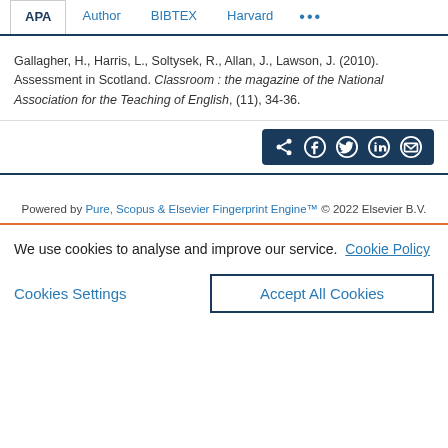APA  Author  BIBTEX  Harvard  ...
Gallagher, H., Harris, L., Soltysek, R., Allan, J., Lawson, J. (2010). Assessment in Scotland. Classroom : the magazine of the National Association for the Teaching of English, (11), 34-36.
[Figure (other): Share icons bar with social sharing buttons: share, Facebook, Twitter, LinkedIn, email on dark navy background]
Powered by Pure, Scopus & Elsevier Fingerprint Engine™ © 2022 Elsevier B.V.
We use cookies to analyse and improve our service. Cookie Policy
Cookies Settings   Accept All Cookies